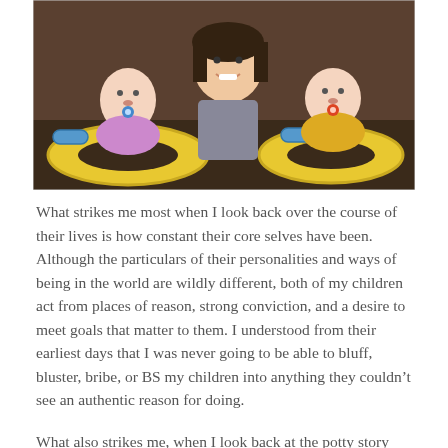[Figure (photo): A photo of a woman smiling with two babies sitting in yellow inflatable duck rings in water. The baby on the left wears a purple outfit and has a blue pacifier; the baby on the right wears a yellow outfit and has a red/orange pacifier.]
What strikes me most when I look back over the course of their lives is how constant their core selves have been. Although the particulars of their personalities and ways of being in the world are wildly different, both of my children act from places of reason, strong conviction, and a desire to meet goals that matter to them. I understood from their earliest days that I was never going to be able to bluff, bluster, bribe, or BS my children into anything they couldn't see an authentic reason for doing.
What also strikes me, when I look back at the potty story and so many others, is my faith in both themselves and me. I